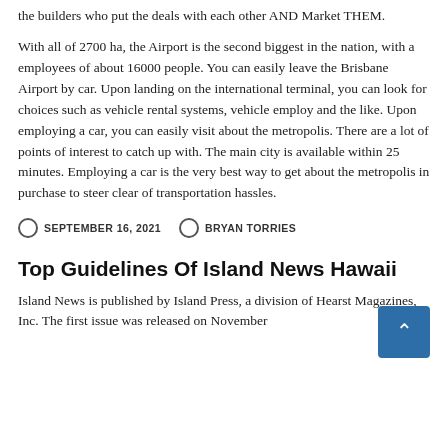the builders who put the deals with each other AND Market THEM.
With all of 2700 ha, the Airport is the second biggest in the nation, with a employees of about 16000 people. You can easily leave the Brisbane Airport by car. Upon landing on the international terminal, you can look for choices such as vehicle rental systems, vehicle employ and the like. Upon employing a car, you can easily visit about the metropolis. There are a lot of points of interest to catch up with. The main city is available within 25 minutes. Employing a car is the very best way to get about the metropolis in purchase to steer clear of transportation hassles.
SEPTEMBER 16, 2021   BRYAN TORRIES
Top Guidelines Of Island News Hawaii
Island News is published by Island Press, a division of Hearst Magazines, Inc. The first issue was released on November